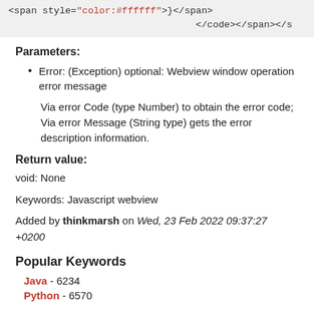<span style="color:#ffffff">}</span>
</code></span></s
Parameters:
Error: (Exception) optional: Webview window operation error message
Via error Code (type Number) to obtain the error code; Via error Message (String type) gets the error description information.
Return value:
void: None
Keywords: Javascript webview
Added by thinkmarsh on Wed, 23 Feb 2022 09:37:27 +0200
Popular Keywords
Java - 6234
Python - 6570